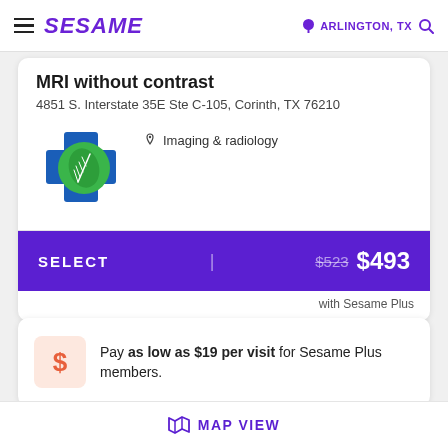SESAME | ARLINGTON, TX
MRI without contrast
4851 S. Interstate 35E Ste C-105, Corinth, TX 76210
[Figure (logo): Blue cross with green leaf logo for a medical imaging provider]
Imaging & radiology
SELECT | $523 $493
with Sesame Plus
Pay as low as $19 per visit for Sesame Plus members.
MAP VIEW